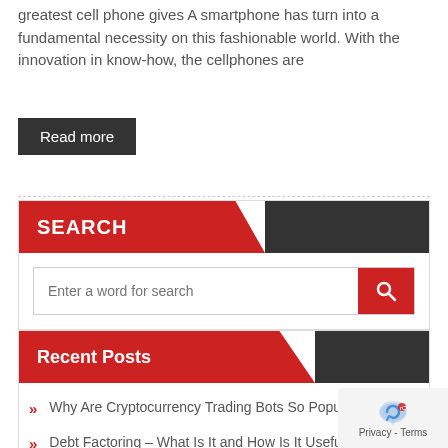greatest cell phone gives A smartphone has turn into a fundamental necessity on this fashionable world. With the innovation in know-how, the cellphones are
Read more
SEARCH
Enter a word for search
Recent Posts
Why Are Cryptocurrency Trading Bots So Popular?
Debt Factoring – What Is It and How Is It Useful?
Simple Tips for Business Growth